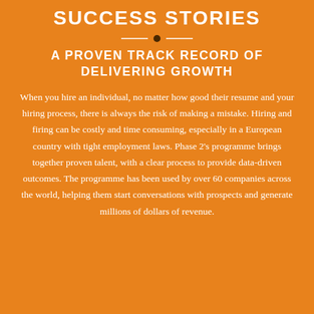SUCCESS STORIES
A PROVEN TRACK RECORD OF DELIVERING GROWTH
When you hire an individual, no matter how good their resume and your hiring process, there is always the risk of making a mistake. Hiring and firing can be costly and time consuming, especially in a European country with tight employment laws. Phase 2’s programme brings together proven talent, with a clear process to provide data-driven outcomes. The programme has been used by over 60 companies across the world, helping them start conversations with prospects and generate millions of dollars of revenue.